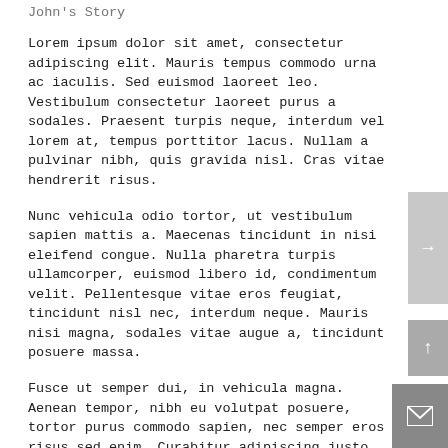John's Story
Lorem ipsum dolor sit amet, consectetur adipiscing elit. Mauris tempus commodo urna ac iaculis. Sed euismod laoreet leo. Vestibulum consectetur laoreet purus a sodales. Praesent turpis neque, interdum vel lorem at, tempus porttitor lacus. Nullam a pulvinar nibh, quis gravida nisl. Cras vitae hendrerit risus.
Nunc vehicula odio tortor, ut vestibulum sapien mattis a. Maecenas tincidunt in nisi eleifend congue. Nulla pharetra turpis ullamcorper, euismod libero id, condimentum velit. Pellentesque vitae eros feugiat, tincidunt nisl nec, interdum neque. Mauris nisi magna, sodales vitae augue a, tincidunt posuere massa.
Fusce ut semper dui, in vehicula magna. Aenean tempor, nibh eu volutpat posuere, tortor purus commodo sapien, nec semper eros risus sed enim. Curabitur adipiscing justo augue, in rhoncus mauris imperdiet a. Duis urna mi, dignissim et ante ac, mollis volutpat elit. Sed vulputate, leo ut ultrices pharetra, leo lacus semper nunc, vel porttitor arcu velit id ante. Aenean et lectus erat.